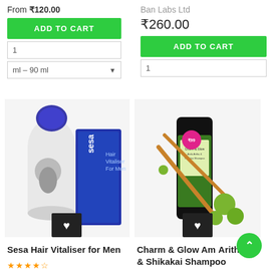From ₹120.00
ADD TO CART
1
ml – 90 ml
Ban Labs Ltd
₹260.00
ADD TO CART
1
[Figure (photo): Sesa Hair Vitaliser for Men product bottle and box in blue and white]
[Figure (photo): Charm & Glow Amla Aritha & Shikakai Shampoo bottle in black and green with amla berries and herbs]
Sesa Hair Vitaliser for Men
★★★★☆
Charm & Glow Amla Aritha & Shikakai Shampoo